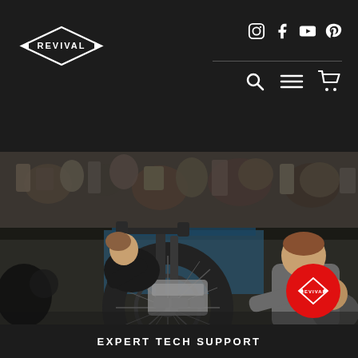[Figure (logo): Revival Cycles diamond logo in white on dark background]
[Figure (illustration): Social media icons: Instagram, Facebook, YouTube, Pinterest]
[Figure (illustration): Navigation icons: search, menu/hamburger, shopping cart]
[Figure (photo): Workshop scene with mechanics working on a motorcycle, surrounded by engine parts and motorcycle components on shelves in the background]
[Figure (logo): Revival logo on red circle button overlay]
EXPERT TECH SUPPORT